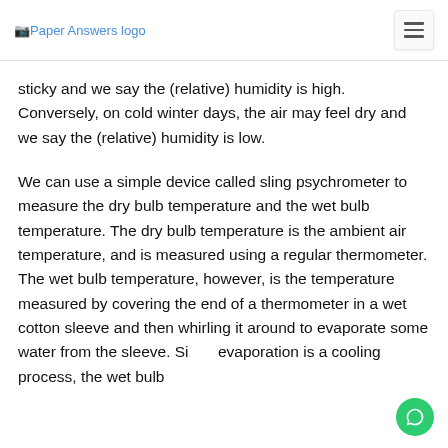Paper Answers logo
sticky and we say the (relative) humidity is high. Conversely, on cold winter days, the air may feel dry and we say the (relative) humidity is low.
We can use a simple device called sling psychrometer to measure the dry bulb temperature and the wet bulb temperature. The dry bulb temperature is the ambient air temperature, and is measured using a regular thermometer. The wet bulb temperature, however, is the temperature measured by covering the end of a thermometer in a wet cotton sleeve and then whirling it around to evaporate some water from the sleeve. Since evaporation is a cooling process, the wet bulb